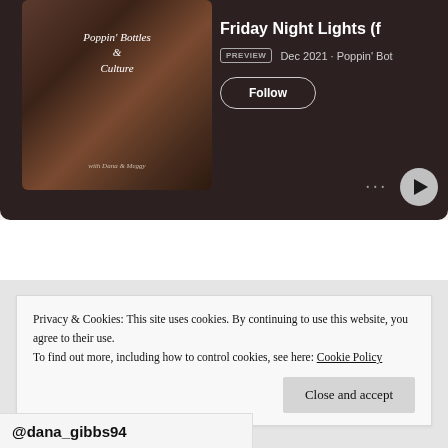[Figure (screenshot): Spotify podcast player card showing 'Poppin' Bottles & Culture' podcast art on the left and 'Friday Night Lights (f' episode title on the right with PREVIEW badge, Dec 2021 date, Follow button, ellipsis menu and play button]
Privacy & Cookies: This site uses cookies. By continuing to use this website, you agree to their use.
To find out more, including how to control cookies, see here: Cookie Policy
Close and accept
@dana_gibbs94